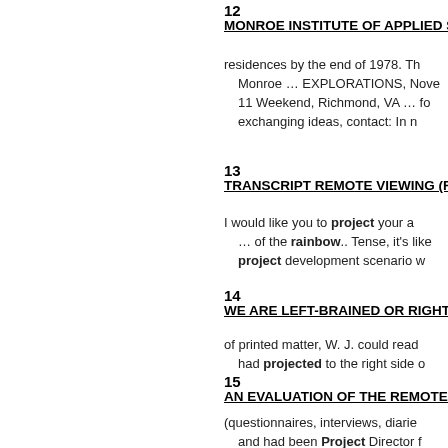12
MONROE INSTITUTE OF APPLIED SCIENC…
residences by the end of 1978. Th… Monroe … EXPLORATIONS, Nove… 11 Weekend, Richmond, VA … fo… exchanging ideas, contact: In n…
13
TRANSCRIPT REMOTE VIEWING (RV) SE…
I would like you to project your a… … of the rainbow.. Tense, it's like… project development scenario w…
14
WE ARE LEFT-BRAINED OR RIGHT-BRAIN…
of printed matter, W. J. could read… had projected to the right side o…
15
AN EVALUATION OF THE REMOTE VIEW…
(questionnaires, interviews, diarie… and had been Project Director f… closely …